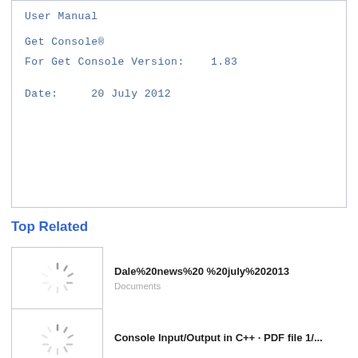User Manual
Get Console®
For Get Console Version:    1.83
Date:     20 July 2012
Top Related
Dale%20news%20 %20july%202013
Documents
Console Input/Output in C++ · PDF file 1/...